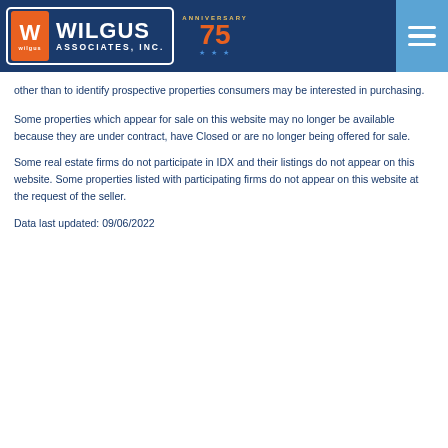[Figure (logo): Wilgus Associates, Inc. logo with 75th anniversary badge and hamburger menu icon on dark blue header bar]
other than to identify prospective properties consumers may be interested in purchasing.
Some properties which appear for sale on this website may no longer be available because they are under contract, have Closed or are no longer being offered for sale.
Some real estate firms do not participate in IDX and their listings do not appear on this website. Some properties listed with participating firms do not appear on this website at the request of the seller.
Data last updated: 09/06/2022